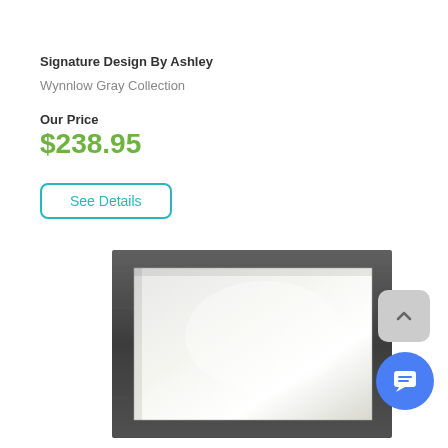Signature Design By Ashley
Wynnlow Gray Collection
Our Price
$238.95
See Details
[Figure (photo): A rectangular wall mirror with a dark charcoal/gray distressed wood frame, showing a reflective mirror surface with light glare, photographed on a white background.]